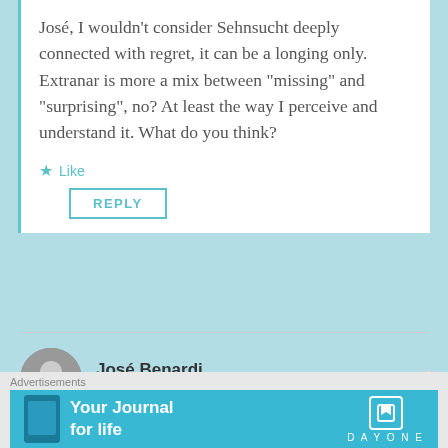José, I wouldn't consider Sehnsucht deeply connected with regret, it can be a longing only. Extranar is more a mix between "missing" and "surprising", no? At least the way I perceive and understand it. What do you think?
★ Like
REPLY
José Benardi
May 20, 2016 at 2:26 pm
I too perceive that about extranar.
[Figure (other): Advertisement banner: 'Your Journal for life' DayOne app ad with phone mockup on teal/cyan background]